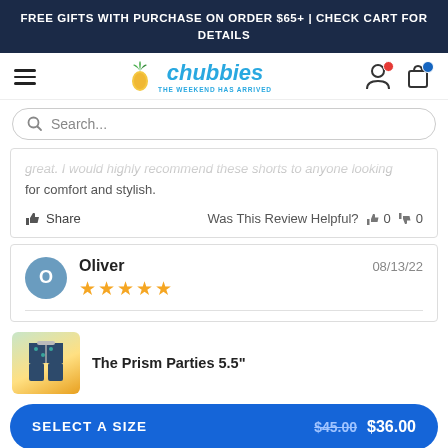FREE GIFTS WITH PURCHASE ON ORDER $65+ | CHECK CART FOR DETAILS
[Figure (logo): Chubbies logo with pineapple icon and tagline THE WEEKEND HAS ARRIVED]
great. I would highly recommend these shorts to anyone looking for comfort and stylish.
Share   Was This Review Helpful? 👍 0 👎 0
Oliver  08/13/22  ★★★★★
The Prism Parties 5.5"
SELECT A SIZE   $45.00  $36.00